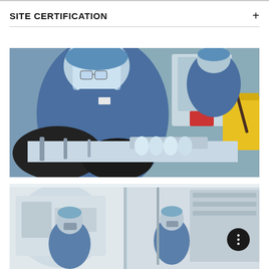SITE CERTIFICATION
[Figure (photo): Worker in blue protective suit, face shield, and black gloves working on medical device assembly line with equipment and yellow bin visible in background]
[Figure (photo): Workers in cleanroom protective gear working on manufacturing equipment in a sterile facility environment]